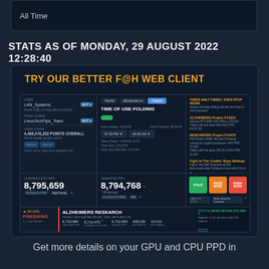All Time
STATS AS OF MONDAY, 29 AUGUST 2022 12:28:40
[Figure (screenshot): Screenshot of a Folding@Home web client interface showing TRY OUR BETTER F@H WEB CLIENT. Displays user stats including CURRENT EST PPD 8,795,659 and AVERAGE PPD 8,794,768, with ALZHEIMERS RESEARCH project information.]
Get more details on your GPU and CPU PPD in